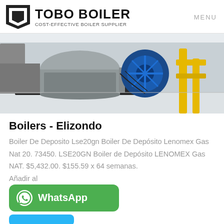TOBO BOILER COST-EFFECTIVE BOILER SUPPLIER | MENU
[Figure (photo): Industrial boiler equipment with blue motor/pump, yellow gas pipes, and metallic cylindrical tank on dark base, in a facility setting.]
Boilers - Elizondo
Boiler De Deposito Lse20gn Boiler De Depósito Lenomex Gas Nat 20. 73450. LSE20GN Boiler de Depósito LENOMEX Gas NAT. $5,432.00. $155.59 x 64 semanas.
Añadir al
[Figure (logo): WhatsApp green button with WhatsApp icon and text 'WhatsApp']
[Figure (other): Partial blue button at bottom]